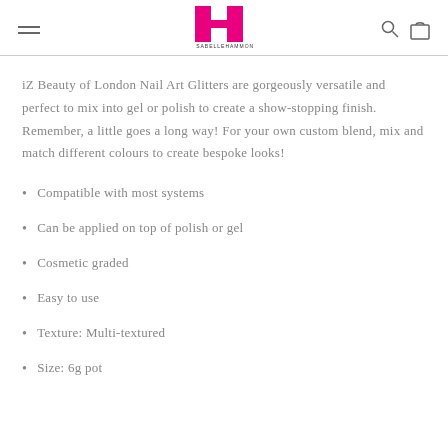IH ISABELLEHAMMON
iZ Beauty of London Nail Art Glitters are gorgeously versatile and perfect to mix into gel or polish to create a show-stopping finish. Remember, a little goes a long way! For your own custom blend, mix and match different colours to create bespoke looks!
Compatible with most systems
Can be applied on top of polish or gel
Cosmetic graded
Easy to use
Texture: Multi-textured
Size: 6g pot